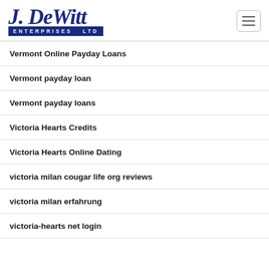J. DeWitt Enterprises Ltd
Vermont Online Payday Loans
Vermont payday loan
Vermont payday loans
Victoria Hearts Credits
Victoria Hearts Online Dating
victoria milan cougar life org reviews
victoria milan erfahrung
victoria-hearts net login